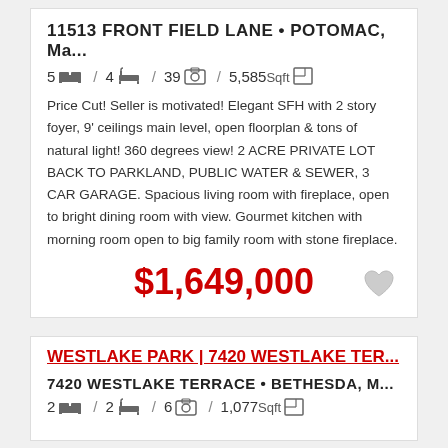11513 FRONT FIELD LANE • POTOMAC, Ma...
5 beds / 4 baths / 39 photos / 5,585Sqft
Price Cut! Seller is motivated! Elegant SFH with 2 story foyer, 9' ceilings main level, open floorplan & tons of natural light! 360 degrees view! 2 ACRE PRIVATE LOT BACK TO PARKLAND, PUBLIC WATER & SEWER, 3 CAR GARAGE. Spacious living room with fireplace, open to bright dining room with view. Gourmet kitchen with morning room open to big family room with stone fireplace.
$1,649,000
WESTLAKE PARK | 7420 WESTLAKE TER...
7420 WESTLAKE TERRACE • BETHESDA, M...
2 beds / 2 baths / 6 photos / 1,077Sqft